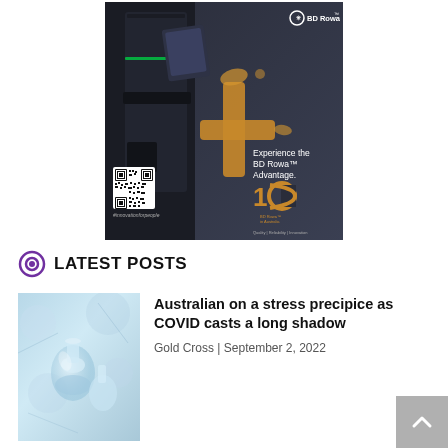[Figure (photo): BD Rowa advertisement showing a dark robotic pharmacy dispensing machine with an orange/gold cross brushstroke graphic, text 'Experience the BD Rowa TM Advantage.', a QR code, #innovationforpeople hashtag, 10th anniversary logo, and 'Quality | Reliability | Innovation' tagline. BD Rowa logo at top right.]
LATEST POSTS
[Figure (photo): Thumbnail image of laboratory glassware with a soft blue-green bokeh background, showing glass flasks or beakers.]
Australian on a stress precipice as COVID casts a long shadow
Gold Cross | September 2, 2022